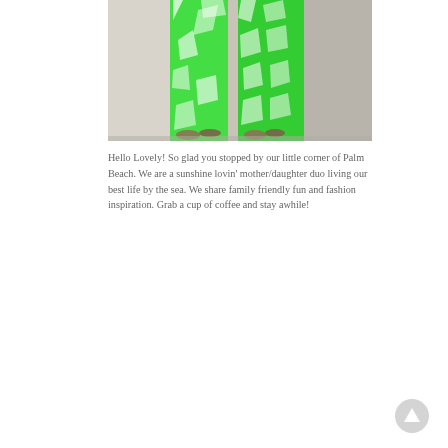[Figure (photo): Two people wearing matching bright green and white tropical print wide-leg pants, photographed from the waist down, standing on what appears to be a light-colored pavement near a beach.]
Hello Lovely! So glad you stopped by our little corner of Palm Beach. We are a sunshine lovin' mother/daughter duo living our best life by the sea. We share family friendly fun and fashion inspiration. Grab a cup of coffee and stay awhile!